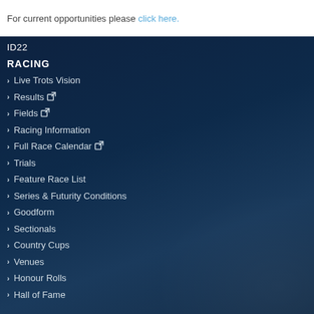For current opportunities please click here.
ID22
RACING
Live Trots Vision
Results [external link]
Fields [external link]
Racing Information
Full Race Calendar [external link]
Trials
Feature Race List
Series & Futurity Conditions
Goodform
Sectionals
Country Cups
Venues
Honour Rolls
Hall of Fame